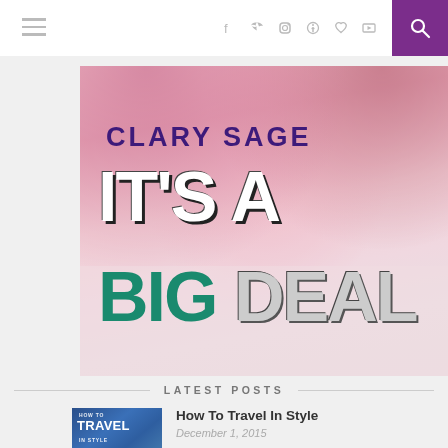Navigation header with hamburger menu, social icons (f, twitter, instagram, pinterest, heart, youtube), and search button
[Figure (photo): Clary Sage 'It's A Big Deal' promotional image — a young woman with pink hair, overlaid with text: 'CLARY SAGE', 'IT'S A', 'BIG DEAL']
LATEST POSTS
[Figure (photo): Thumbnail for 'How To Travel In Style' blog post, showing a travel-themed image with text overlay]
How To Travel In Style
December 1, 2015